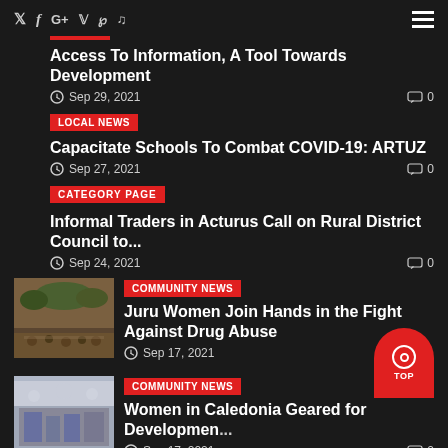Social icons: Twitter, Facebook, Google+, Vimeo, Pinterest, Music | Hamburger menu
Access To Information, A Tool Towards Development
Sep 29, 2021  0
Local News
Capacitate Schools To Combat COVID-19: ARTUZ
Sep 27, 2021  0
CATEGORY PAGE
Informal Traders in Acturus Call on Rural District Council to...
Sep 24, 2021  0
Community News
Juru Women Join Hands in the Fight Against Drug Abuse
Sep 17, 2021
Community News
Women in Caledonia Geared for Development...
Sep 17, 2021  0